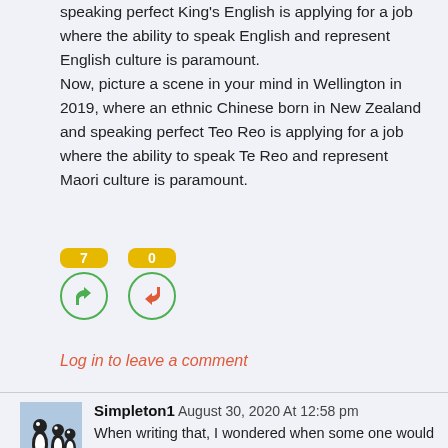speaking perfect King's English is applying for a job where the ability to speak English and represent English culture is paramount. Now, picture a scene in your mind in Wellington in 2019, where an ethnic Chinese born in New Zealand and speaking perfect Teo Reo is applying for a job where the ability to speak Te Reo and represent Maori culture is paramount.
[Figure (infographic): Vote buttons: thumbs up with count 7 (green circle), thumbs down with count 0 (green circle), each with an orange/yellow badge showing the count above.]
Log in to leave a comment
Simpleton1 August 30, 2020 At 12:58 pm
When writing that, I wondered when some one would pick up on that.
The change of aspiration to another culture.